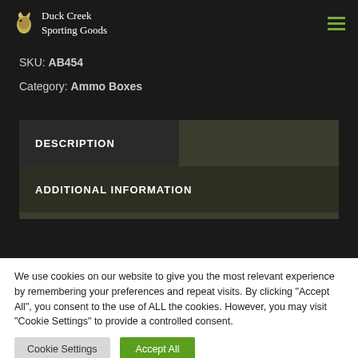Duck Creek Sporting Goods
SKU: AB454
Category: Ammo Boxes
DESCRIPTION
ADDITIONAL INFORMATION
We use cookies on our website to give you the most relevant experience by remembering your preferences and repeat visits. By clicking "Accept All", you consent to the use of ALL the cookies. However, you may visit "Cookie Settings" to provide a controlled consent.
Cookie Settings  Accept All